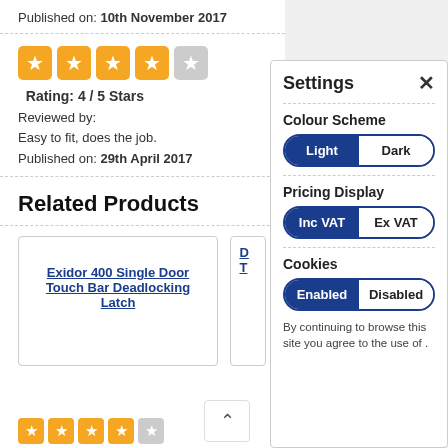Published on: 10th November 2017
[Figure (other): 4 out of 5 star rating boxes in orange and grey]
Rating: 4 / 5 Stars
Reviewed by:
Easy to fit, does the job.
Published on: 29th April 2017
Related Products
Exidor 400 Single Door Touch Bar Deadlocking Latch
Settings
Colour Scheme
Light / Dark toggle
Pricing Display
Inc VAT / Ex VAT toggle
Cookies
Enabled / Disabled toggle
By continuing to browse this site you agree to the use of .